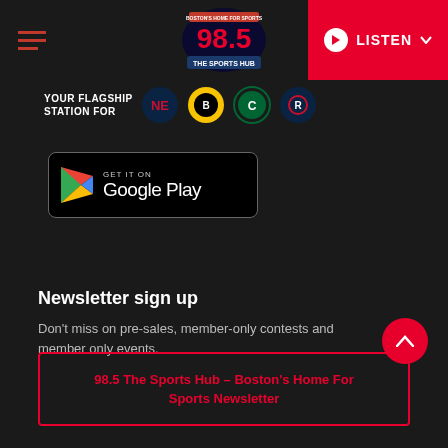98.5 The Sports Hub - Boston's Home For Sports
[Figure (logo): 98.5 The Sports Hub radio station logo with red text and sports imagery]
[Figure (infographic): YOUR FLAGSHIP STATION FOR with New England Patriots, Boston Bruins, Boston Celtics, and Revolution team logos]
[Figure (screenshot): GET IT ON Google Play store badge]
Newsletter sign up
Don't miss on pre-sales, member-only contests and member only events.
98.5 The Sports Hub – Boston's Home For Sports Newsletter